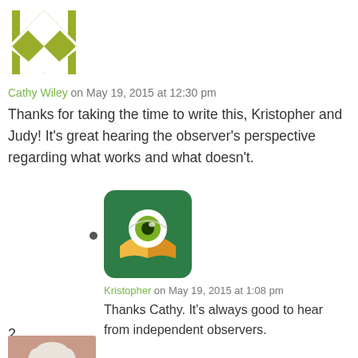[Figure (logo): Olive/yellow-green geometric abstract logo made of triangular shapes]
Cathy Wiley on May 19, 2015 at 12:30 pm
Thanks for taking the time to write this, Kristopher and Judy! It's great hearing the observer's perspective regarding what works and what doesn't.
[Figure (logo): Green rounded square icon with a large eyeball above an open book — app icon style]
Kristopher on May 19, 2015 at 1:08 pm
Thanks Cathy. It's always good to hear from independent observers.
2.
[Figure (photo): Photo of a woman with short blonde/white hair, resting her chin on her hands, wearing a pink/coral patterned top]